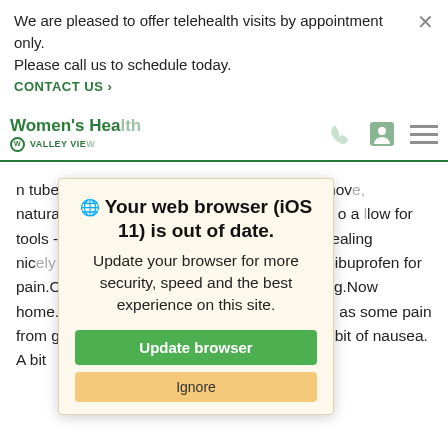We are pleased to offer telehealth visits by appointment only.
Please call us to schedule today.
CONTACT US >
Women's Health VALLEY VIEW
[Figure (screenshot): Browser update popup modal overlay on a medical website. Shows globe icon, bold text 'Your web browser (iOS 11) is out of date.' with body text 'Update your browser for more security, speed and the best experience on this site.' and two buttons: green 'Update browser' and tan 'Ignore'.]
n tubes.Pu re p    eir  roper places, allo in    mov , naturally.R epaire  oned* vaginal cuff.More inc    o a low for tools -som  glued, so sewn: a bit warm, but healing nic ly    sid  where biggest incisions ar   co n ibuprofen for pain.On fluids, liquid diet / transition to soft / reg.Now home.Still a bit dizzy, n puffy from fluid, as well as some pain from gas, and other minor discomforts. Only a bit of nausea. A bit of f...